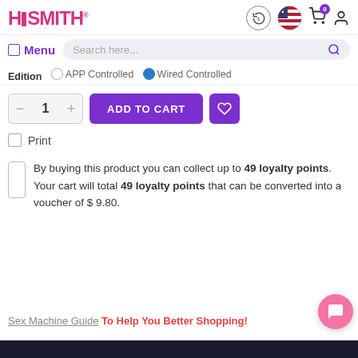Hismith® — Menu | Search here...
Edition  APP Controlled  Wired Controlled
1  ADD TO CART
Print
By buying this product you can collect up to 49 loyalty points. Your cart will total 49 loyalty points that can be converted into a voucher of $ 9.80.
Sex Machine Guide To Help You Better Shopping!